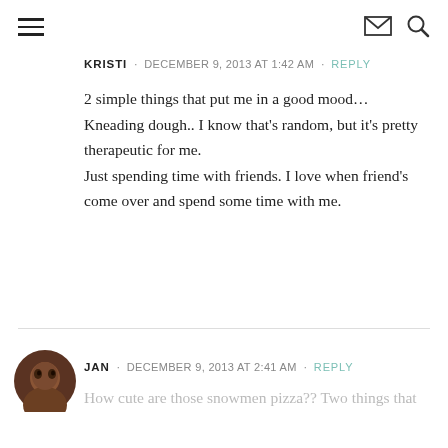navigation header with hamburger menu, envelope icon, and search icon
KRISTI · DECEMBER 9, 2013 AT 1:42 AM · REPLY
2 simple things that put me in a good mood… Kneading dough.. I know that's random, but it's pretty therapeutic for me.
Just spending time with friends. I love when friend's come over and spend some time with me.
JAN · DECEMBER 9, 2013 AT 2:41 AM · REPLY
How cute are those snowmen pizza?? Two things that